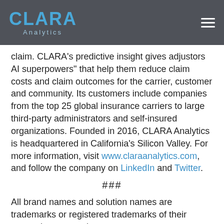CLARA Analytics (logo) navigation bar
claim. CLARA's predictive insight gives adjustors AI superpowers" that help them reduce claim costs and claim outcomes for the carrier, customer and community. Its customers include companies from the top 25 global insurance carriers to large third-party administrators and self-insured organizations. Founded in 2016, CLARA Analytics is headquartered in California's Silicon Valley. For more information, visit www.claraanalytics.com, and follow the company on LinkedIn and Twitter.
###
All brand names and solution names are trademarks or registered trademarks of their respective companies.
Tags: CLARA Analytics, Heather H. Wilson, insurance, commercial insurance, commercial auto insurance, artificial intelligence, AI, data science, predictive analytics, machine learning, insurtech, insuretech, data innovation, claims, workers comp, workers compensation healthcare, Medicare